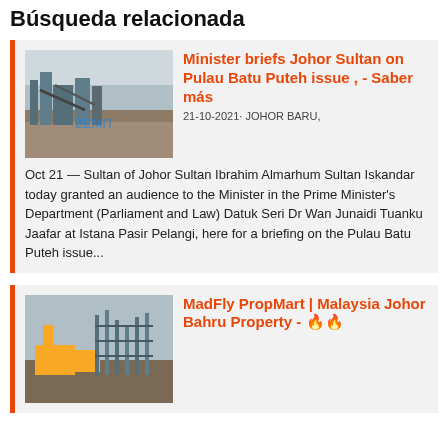Búsqueda relacionada
[Figure (photo): Industrial mining or quarry site with machinery, rocky terrain and overcast sky]
Minister briefs Johor Sultan on Pulau Batu Puteh issue , - Saber más
21-10-2021· JOHOR BARU, Oct 21 — Sultan of Johor Sultan Ibrahim Almarhum Sultan Iskandar today granted an audience to the Minister in the Prime Minister's Department (Parliament and Law) Datuk Seri Dr Wan Junaidi Tuanku Jaafar at Istana Pasir Pelangi, here for a briefing on the Pulau Batu Puteh issue...
[Figure (photo): Industrial or construction site with yellow machinery and scaffolding]
MadFly PropMart | Malaysia Johor Bahru Property - 🔥🔥